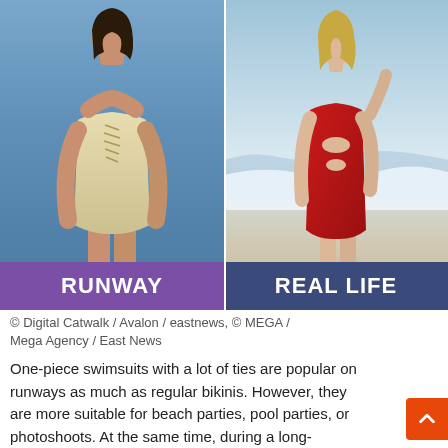[Figure (photo): Two-panel comparison image. Left panel: model wearing a cream/gold lace-up one-piece swimsuit on a fashion runway with blue background. Right panel: woman wearing a red cut-out one-piece swimsuit standing on a beach with ocean waves behind her. Left label bar (purple): RUNWAY. Right label bar (dark blue): REAL LIFE.]
© Digital Catwalk / Avalon / eastnews, © MEGA / Mega Agency / East News
One-piece swimsuits with a lot of ties are popular on runways as much as regular bikinis. However, they are more suitable for beach parties, pool parties, or photoshoots. At the same time, during a long-